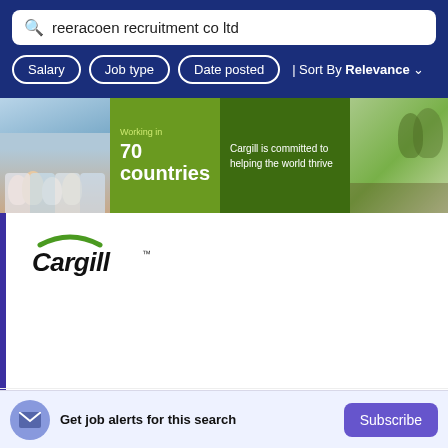reeracoen recruitment co ltd
Salary | Job type | Date posted | Sort By Relevance
[Figure (photo): Banner showing Cargill company images: workers in blue medical outfits, green panel saying 'Working in 70 countries', dark green panel with text 'Cargill is committed to helping the world thrive', and a photo of people in a farm/greenhouse setting.]
[Figure (logo): Cargill company logo with green arc and bold italic Cargill wordmark]
Account Payable Specialist (Saraburi)
Cargill Group Thailand (บริษัท คาร์กิลล์ สยาม จำกัด)
Saraburi
Get job alerts for this search
Subscribe